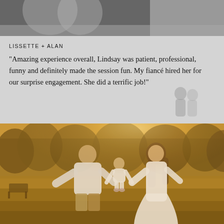[Figure (photo): Black and white photo of a couple at the top of the page, cropped to show partial view]
LISSETTE + ALAN
"Amazing experience overall, Lindsay was patient, professional, funny and definitely made the session fun. My fiancé hired her for our surprise engagement. She did a terrific job!"
[Figure (photo): Warm golden-hour photo of a family — a heavyset man in white shirt and khaki shorts, a woman in a long white dress, and a small child in a white dress between them, all walking away from camera across a grassy field, holding the child's hands up in the air. Trees in background.]